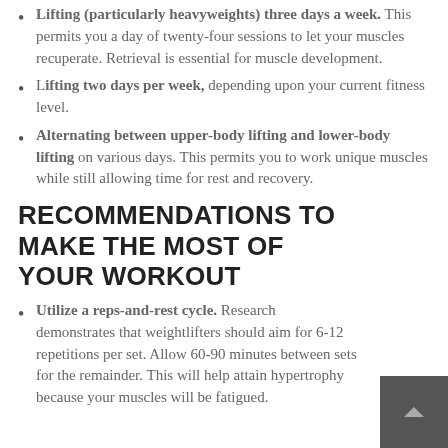Lifting (particularly heavyweights) three days a week. This permits you a day of twenty-four sessions to let your muscles recuperate. Retrieval is essential for muscle development.
Lifting two days per week, depending upon your current fitness level.
Alternating between upper-body lifting and lower-body lifting on various days. This permits you to work unique muscles while still allowing time for rest and recovery.
RECOMMENDATIONS TO MAKE THE MOST OF YOUR WORKOUT
Utilize a reps-and-rest cycle. Research demonstrates that weightlifters should aim for 6-12 repetitions per set. Allow 60-90 minutes between sets for the remainder. This will help attain hypertrophy because your muscles will be fatigued.